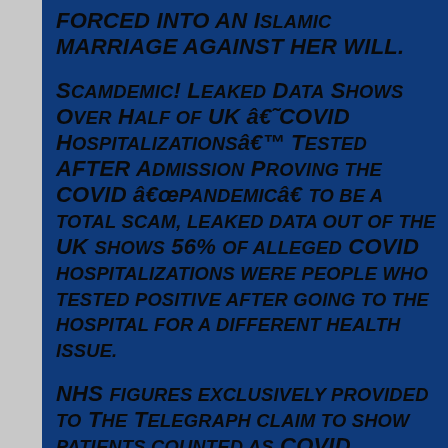FORCED INTO AN ISLAMIC MARRIAGE AGAINST HER WILL.
SCAMDEMIC! LEAKED DATA SHOWS OVER HALF OF UK â€˜COVID HOSPITALIZATIONSâ€™ TESTED AFTER ADMISSION PROVING THE COVID â€œPANDEMICâ€ TO BE A TOTAL SCAM, LEAKED DATA OUT OF THE UK SHOWS 56% OF ALLEGED COVID HOSPITALIZATIONS WERE PEOPLE WHO TESTED POSITIVE AFTER GOING TO THE HOSPITAL FOR A DIFFERENT HEALTH ISSUE.
NHS FIGURES EXCLUSIVELY PROVIDED TO THE TELEGRAPH CLAIM TO SHOW PATIENTS COUNTED AS COVID POSITIVE BY THE